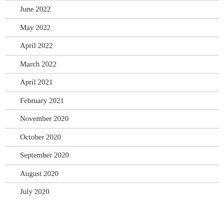June 2022
May 2022
April 2022
March 2022
April 2021
February 2021
November 2020
October 2020
September 2020
August 2020
July 2020